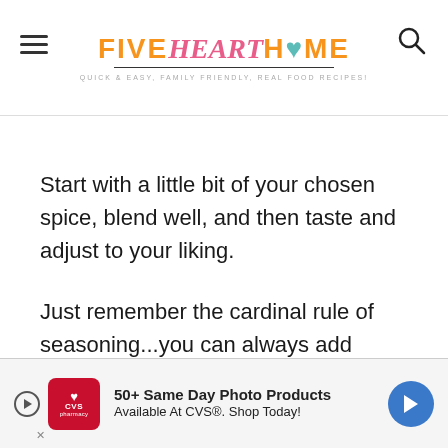FIVE heart HOME — Quick & Easy, Family Friendly, Real Food Recipes!
Start with a little bit of your chosen spice, blend well, and then taste and adjust to your liking.
Just remember the cardinal rule of seasoning...you can always add more, but it's impossible to take it away!
[Figure (other): CVS advertisement banner: 50+ Same Day Photo Products Available At CVS®. Shop Today!]